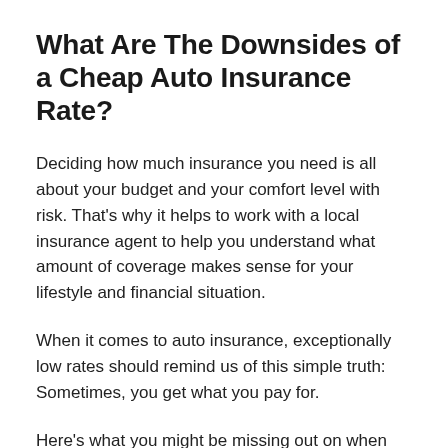What Are The Downsides of a Cheap Auto Insurance Rate?
Deciding how much insurance you need is all about your budget and your comfort level with risk. That's why it helps to work with a local insurance agent to help you understand what amount of coverage makes sense for your lifestyle and financial situation.
When it comes to auto insurance, exceptionally low rates should remind us of this simple truth: Sometimes, you get what you pay for.
Here's what you might be missing out on when you purchase minimal coverage: